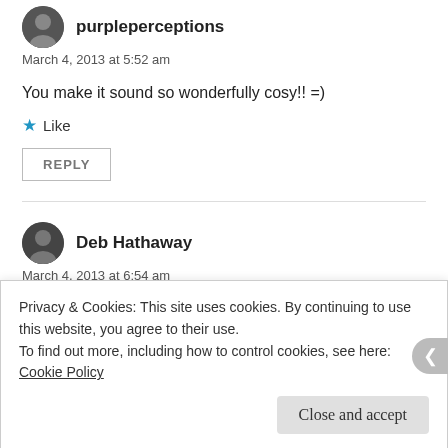purpleperceptions
March 4, 2013 at 5:52 am
You make it sound so wonderfully cosy!! =)
★ Like
REPLY
Deb Hathaway
March 4, 2013 at 6:54 am
Privacy & Cookies: This site uses cookies. By continuing to use this website, you agree to their use.
To find out more, including how to control cookies, see here: Cookie Policy
Close and accept